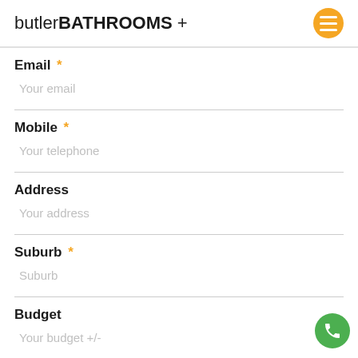butlerBATHROOMS+
Email *
Your email
Mobile *
Your telephone
Address
Your address
Suburb *
Suburb
Budget
Your budget +/-